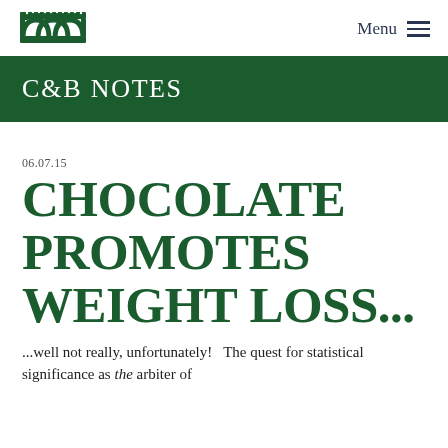Menu
C&B Notes
06.07.15
Chocolate Promotes Weight Loss...
...well not really, unfortunately!   The quest for statistical significance as the arbiter of